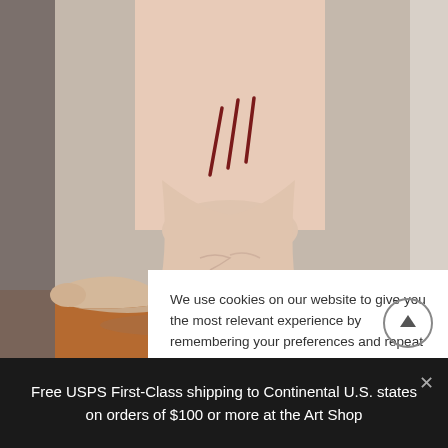[Figure (photo): Close-up photograph of a human ankle and foot with three diagonal dark red scratch or tattoo marks on the ankle area. Background is a light gray/beige wall and orange-brown floor surface.]
We use cookies on our website to give you the most relevant experience by remembering your preferences and repeat visits. By clicking “Accept”, you consent to the use of ALL the cookies.
Free USPS First-Class shipping to Continental U.S. states on orders of $100 or more at the Art Shop